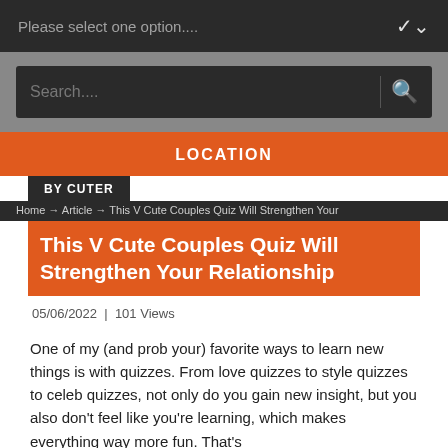Please select one option....
[Figure (screenshot): Search bar with placeholder text 'Search....' and a search icon]
LOCATION
BY CUTER
Home → Article → This V Cute Couples Quiz Will Strengthen Your
This V Cute Couples Quiz Will Strengthen Your Relationship
05/06/2022  |  101 Views
One of my (and prob your) favorite ways to learn new things is with quizzes. From love quizzes to style quizzes to celeb quizzes, not only do you gain new insight, but you also don't feel like you're learning, which makes everything way more fun. That's